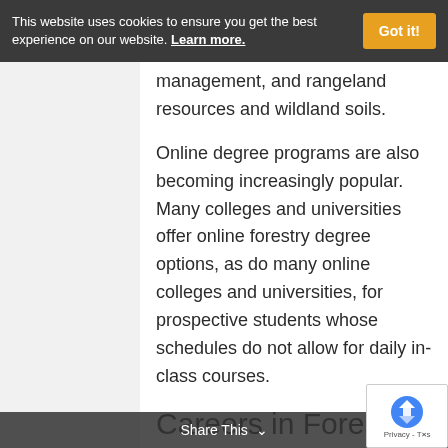This website uses cookies to ensure you get the best experience on our website. Learn more.
management, and rangeland resources and wildland soils.
Online degree programs are also becoming increasingly popular. Many colleges and universities offer online forestry degree options, as do many online colleges and universities, for prospective students whose schedules do not allow for daily in-class courses.
Careers in Forestry
While studying for your forestry degree, you should consider
Share This